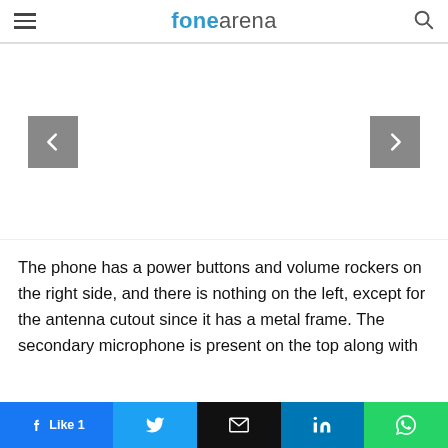fonearena
[Figure (screenshot): Image gallery area with left and right navigation arrow buttons on grey background]
The phone has a power buttons and volume rockers on the right side, and there is nothing on the left, except for the antenna cutout since it has a metal frame. The secondary microphone is present on the top along with
Like 1 | Twitter | Email | LinkedIn | WhatsApp